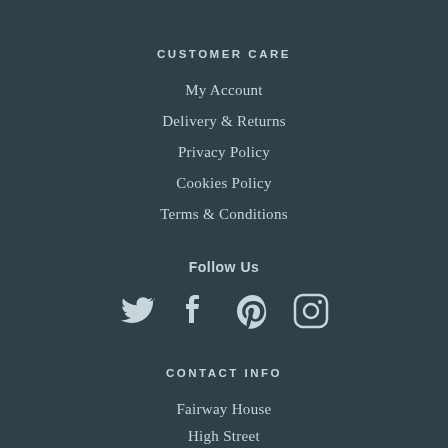CUSTOMER CARE
My Account
Delivery & Returns
Privacy Policy
Cookies Policy
Terms & Conditions
Follow Us
[Figure (infographic): Social media icons: Twitter, Facebook, Pinterest, Instagram]
CONTACT INFO
Fairway House
High Street